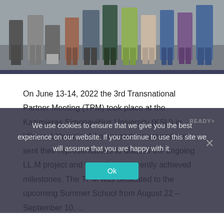[Figure (photo): Group photo of people standing together, lower half of the image visible showing legs, feet, and lower bodies of a crowd of attendees.]
On June 13-14, 2022 the 3rd Transnational Partner Meeting (TPM) took place at the Kazimieras Simonavičius University (KSU) in Vilnius, Lithuania. All other partner universities sent their representatives to discuss the ongoing LL.M project and to evaluate currently achieved milestones. The TPM was dedicated to the upcoming Summer School from August 22 – September 10, ...
We use cookies to ensure that we give you the best experience on our website. If you continue to use this site we will assume that you are happy with it.